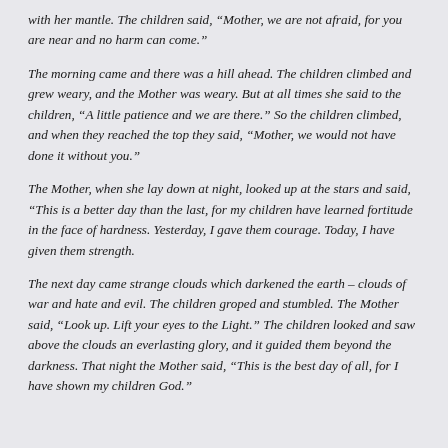with her mantle. The children said, “Mother, we are not afraid, for you are near and no harm can come.”
The morning came and there was a hill ahead. The children climbed and grew weary, and the Mother was weary. But at all times she said to the children, “A little patience and we are there.” So the children climbed, and when they reached the top they said, “Mother, we would not have done it without you.”
The Mother, when she lay down at night, looked up at the stars and said, “This is a better day than the last, for my children have learned fortitude in the face of hardness. Yesterday, I gave them courage. Today, I have given them strength.
The next day came strange clouds which darkened the earth – clouds of war and hate and evil. The children groped and stumbled. The Mother said, “Look up. Lift your eyes to the Light.” The children looked and saw above the clouds an everlasting glory, and it guided them beyond the darkness. That night the Mother said, “This is the best day of all, for I have shown my children God.”